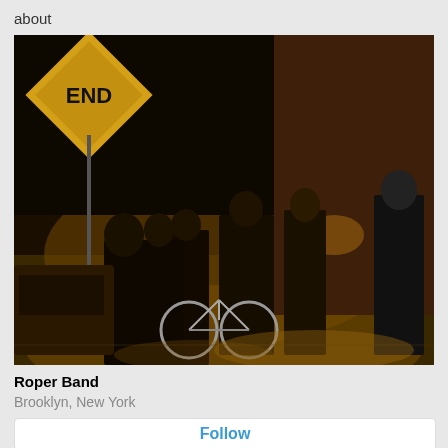about
[Figure (photo): Band photo taken at night on a city street. Several men stand on a sidewalk near an END road sign. A bicycle is visible in the foreground. Orange/amber street lighting illuminates the scene.]
Roper Band
Brooklyn, New York
Follow